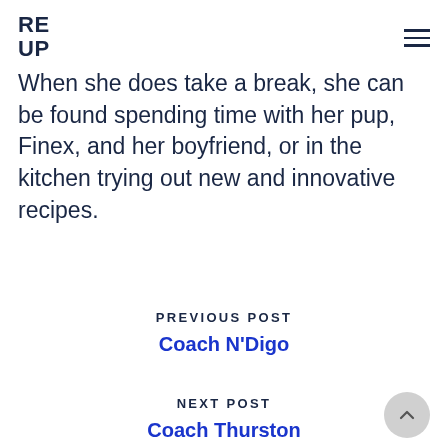RE UP
When she does take a break, she can be found spending time with her pup, Finex, and her boyfriend, or in the kitchen trying out new and innovative recipes.
PREVIOUS POST
Coach N'Digo
NEXT POST
Coach Thurston